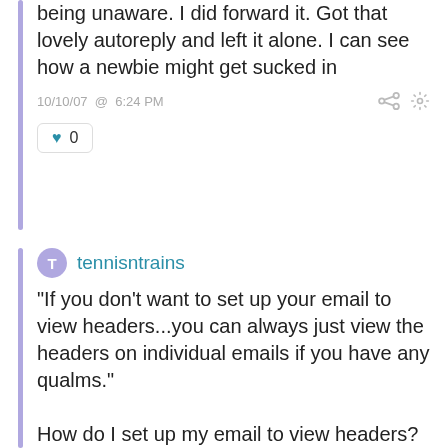being unaware. I did forward it. Got that lovely autoreply and left it alone. I can see how a newbie might get sucked in
10/10/07 @ 6:24 PM
0
tennisntrains
"If you don't want to set up your email to view headers...you can always just view the headers on individual emails if you have any qualms."

How do I set up my email to view headers?
10/21/07 @ 7:18 AM
0